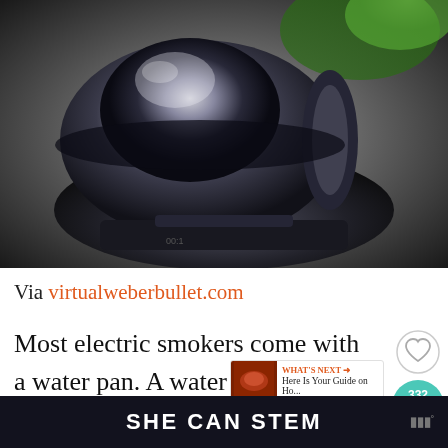[Figure (photo): Close-up photo of a black electric smoker water pan, shiny black cookware viewed from above, set outdoors]
Via virtualweberbullet.com
Most electric smokers come with a water pan. A water pan is found usually at the bottom part of an electric smoker and is responsible for providing a moistly smoke to yo
SHE CAN STEM